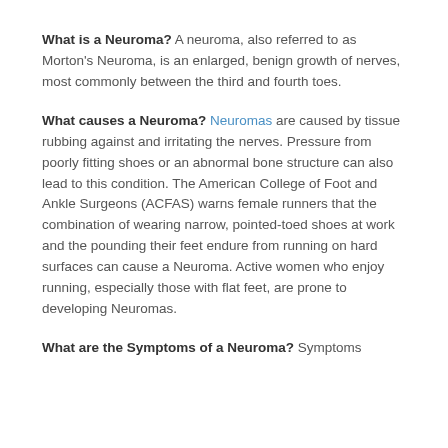What is a Neuroma? A neuroma, also referred to as Morton's Neuroma, is an enlarged, benign growth of nerves, most commonly between the third and fourth toes.
What causes a Neuroma? Neuromas are caused by tissue rubbing against and irritating the nerves. Pressure from poorly fitting shoes or an abnormal bone structure can also lead to this condition. The American College of Foot and Ankle Surgeons (ACFAS) warns female runners that the combination of wearing narrow, pointed-toed shoes at work and the pounding their feet endure from running on hard surfaces can cause a Neuroma. Active women who enjoy running, especially those with flat feet, are prone to developing Neuromas.
What are the Symptoms of a Neuroma? Symptoms